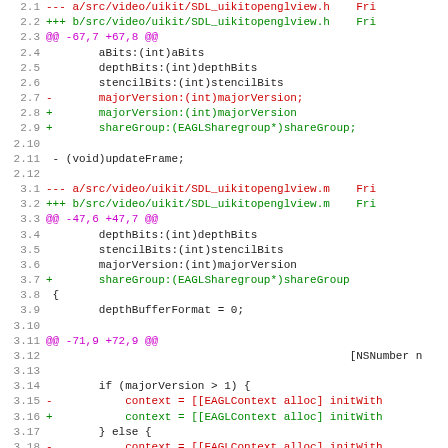[Figure (screenshot): A code diff screenshot showing changes to SDL_uikitopenglview.h and SDL_uikitopenglview.m, with line numbers, red lines for removals, green lines for additions, and magenta for diff hunk headers.]